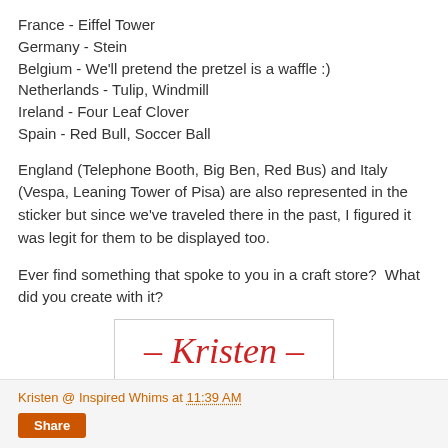France - Eiffel Tower
Germany - Stein
Belgium - We'll pretend the pretzel is a waffle :)
Netherlands - Tulip, Windmill
Ireland - Four Leaf Clover
Spain - Red Bull, Soccer Ball
England (Telephone Booth, Big Ben, Red Bus) and Italy (Vespa, Leaning Tower of Pisa) are also represented in the sticker but since we've traveled there in the past, I figured it was legit for them to be displayed too.
Ever find something that spoke to you in a craft store?  What did you create with it?
[Figure (illustration): Handwritten cursive signature reading '- Kristen -' in red ink inside a light bordered box]
Kristen @ Inspired Whims at 11:39 AM  Share